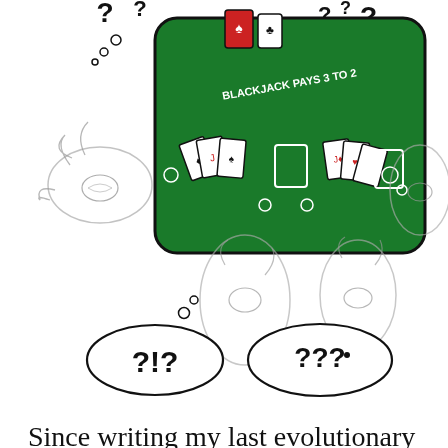[Figure (illustration): Illustration of a blackjack table (green felt, 'BLACKJACK PAYS 3 TO 2' text, playing cards) surrounded by single-celled organisms (amoeba-like creatures) with thought bubbles showing question marks and exclamation points (?!? and ???)]
Since writing my last evolutionary algorithm program, I have been looking around for other places where this strategy of optimization would be a good fit. The idea of having a population of objects that improves using the concepts of biology is not only fascinating, it is proven in the world around us. When I was getting ready